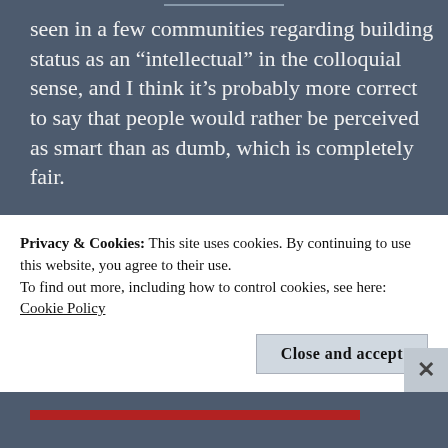seen in a few communities regarding building status as an “intellectual” in the colloquial sense, and I think it’s probably more correct to say that people would rather be perceived as smart than as dumb, which is completely fair.

This article could also be called “How to Look and Sound Like an Intellectual” although frankly that implies a scope that is much larger than anything I could discuss. So, we have a lighthearted article
Privacy & Cookies: This site uses cookies. By continuing to use this website, you agree to their use.
To find out more, including how to control cookies, see here: Cookie Policy